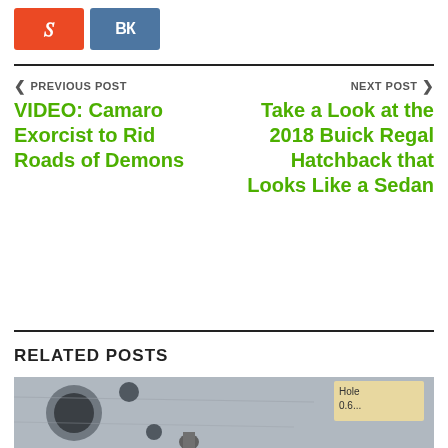[Figure (other): Social sharing buttons: StumbleUpon (orange) and VK (blue)]
PREVIOUS POST
VIDEO: Camaro Exorcist to Rid Roads of Demons
NEXT POST
Take a Look at the 2018 Buick Regal Hatchback that Looks Like a Sedan
RELATED POSTS
[Figure (photo): Close-up photo of a metal engine component (cylinder head or similar) with holes; a handwritten label visible reading 'Hole 0.6...']